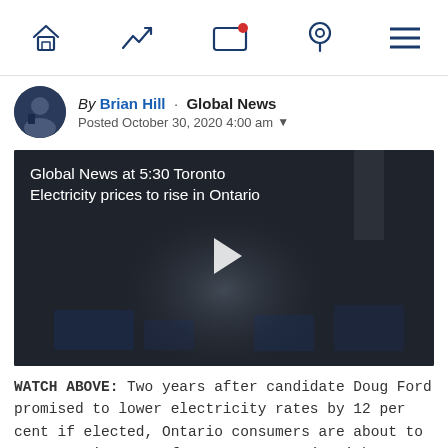Navigation bar with home, trending, screen, location, menu icons
By Brian Hill · Global News
Posted October 30, 2020 4:00 am
[Figure (screenshot): Video thumbnail showing a dark background with text overlay 'Global News at 5:30 Toronto Electricity prices to rise in Ontario' and a white play button in the center]
WATCH ABOVE: Two years after candidate Doug Ford promised to lower electricity rates by 12 per cent if elected, Ontario consumers are about to start paying more for power. As Seán O'Shea reports, the higher costs will show up on bills